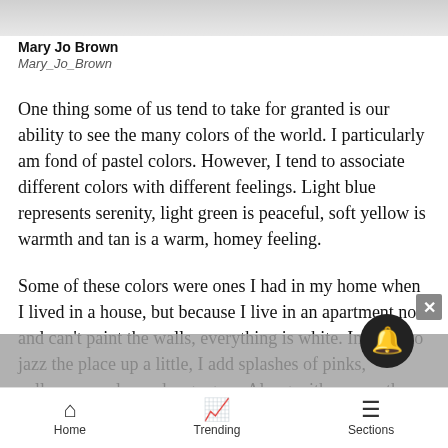[Figure (photo): Top portion of an image, cropped — appears to show a light/white surface or fabric]
Mary Jo Brown
Mary_Jo_Brown
One thing some of us tend to take for granted is our ability to see the many colors of the world. I particularly am fond of pastel colors. However, I tend to associate different colors with different feelings. Light blue represents serenity, light green is peaceful, soft yellow is warmth and tan is a warm, homey feeling.
Some of these colors were ones I had in my home when I lived in a house, but because I live in an apartment now and can't paint the walls, everything is white. In order to jazz the place up a little, I add splashes of pinks, yellows, purples and sage gree... Along with many other people when decorating, I use
Home   Trending   Sections